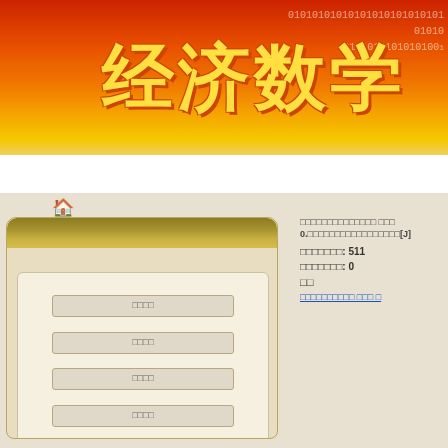[Figure (illustration): Orange-red to yellow gradient banner with large Chinese title '经济数学' (Economics Mathematics) in yellow with outline, and binary digit pattern '010101010101010101010101' in top right corner]
经济数学
[Figure (screenshot): Website login interface showing a home icon, login card titled '用户登录' with four input fields, and a right panel with a reference citation, statistics showing download count 511 and citation count 0, a tag label, and a hyperlink]
用户登录
□□□□□□□□□□□□□□ □□□ 0.□□□□□□□□□□□□□□□□□[J]
□□□□□□□: 511
□□□□□□□: 0
□□
□□□□□□□□□□ □□□ □